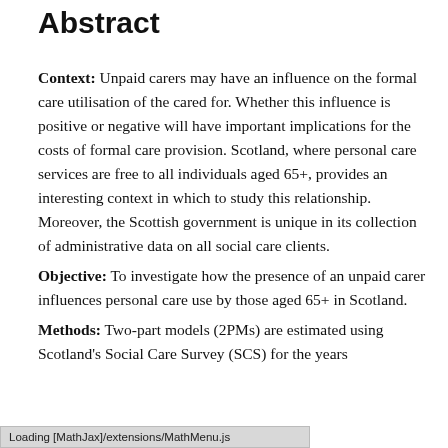Abstract
Context: Unpaid carers may have an influence on the formal care utilisation of the cared for. Whether this influence is positive or negative will have important implications for the costs of formal care provision. Scotland, where personal care services are free to all individuals aged 65+, provides an interesting context in which to study this relationship. Moreover, the Scottish government is unique in its collection of administrative data on all social care clients.
Objective: To investigate how the presence of an unpaid carer influences personal care use by those aged 65+ in Scotland.
Methods: Two-part models (2PMs) are estimated using Scotland's Social Care Survey (SCS) for the years...
Loading [MathJax]/extensions/MathMenu.js